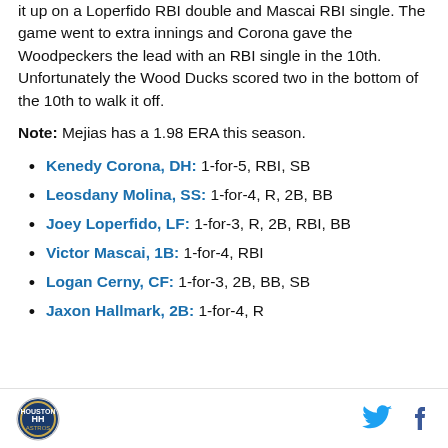it up on a Loperfido RBI double and Mascai RBI single. The game went to extra innings and Corona gave the Woodpeckers the lead with an RBI single in the 10th. Unfortunately the Wood Ducks scored two in the bottom of the 10th to walk it off.
Note: Mejias has a 1.98 ERA this season.
Kenedy Corona, DH: 1-for-5, RBI, SB
Leosdany Molina, SS: 1-for-4, R, 2B, BB
Joey Loperfido, LF: 1-for-3, R, 2B, RBI, BB
Victor Mascai, 1B: 1-for-4, RBI
Logan Cerny, CF: 1-for-3, 2B, BB, SB
Jaxon Hallmark, 2B: 1-for-4, R
logo, twitter, facebook icons